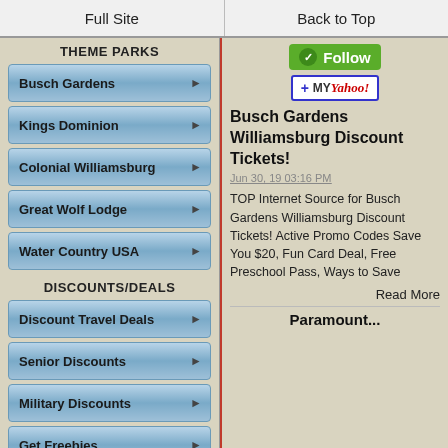Full Site | Back to Top
THEME PARKS
Busch Gardens
Kings Dominion
Colonial Williamsburg
Great Wolf Lodge
Water Country USA
DISCOUNTS/DEALS
Discount Travel Deals
Senior Discounts
Military Discounts
Get Freebies
Cheap Eats
Cheap Gas
Groupon/Coupons
[Figure (logo): Green Follow button with circular icon]
[Figure (logo): Add to My Yahoo! button]
Busch Gardens Williamsburg Discount Tickets!
Jun 30, 19 03:16 PM
TOP Internet Source for Busch Gardens Williamsburg Discount Tickets! Active Promo Codes Save You $20, Fun Card Deal, Free Preschool Pass, Ways to Save
Read More
Paramount...